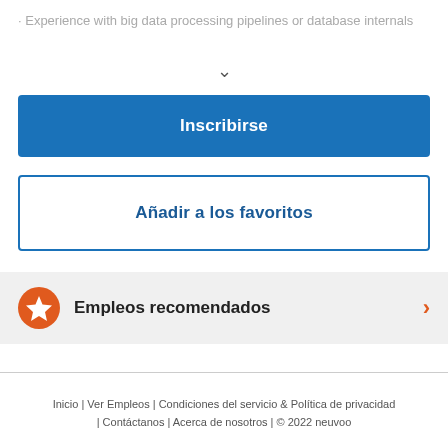Experience with big data processing pipelines or database internals
✓
Inscribirse
Añadir a los favoritos
Empleos recomendados
Inicio | Ver Empleos | Condiciones del servicio & Política de privacidad | Contáctanos | Acerca de nosotros | © 2022 neuvoo